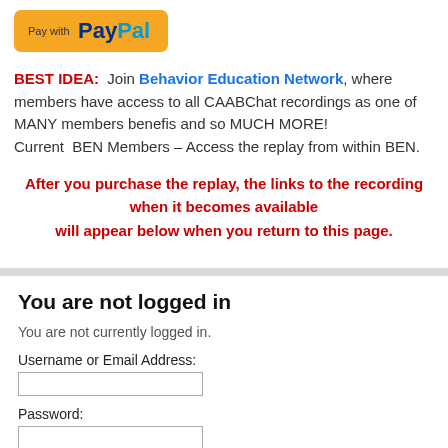[Figure (logo): PayPal 'Pay with PayPal' button with orange background]
BEST IDEA: Join Behavior Education Network, where members have access to all CAABChat recordings as one of MANY members benefis and so MUCH MORE! Current BEN Members – Access the replay from within BEN.
After you purchase the replay, the links to the recording when it becomes available will appear below when you return to this page.
You are not logged in
You are not currently logged in.
Username or Email Address:
Password:
Remember Me
Login